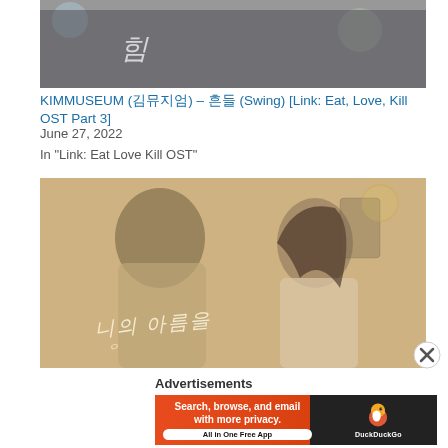[Figure (photo): Cropped top portion of a Korean drama promotional image showing a person wearing a dark hoodie with bokeh lights in background]
KIMMUSEUM (김뮤지엄) – 흔들 (Swing) [Link: Eat, Love, Kill OST Part 3]
June 27, 2022
In "Link: Eat Love Kill OST"
[Figure (photo): Korean drama promotional photo showing a smiling young man in a beige blazer and a young woman in a cream-colored top facing each other, with Korean text overlay at the bottom reading 니의 아름을]
Advertisements
[Figure (infographic): DuckDuckGo advertisement banner: orange section with text 'Search, browse, and email with more privacy. All in One Free App' and dark section with DuckDuckGo duck logo and brand name]